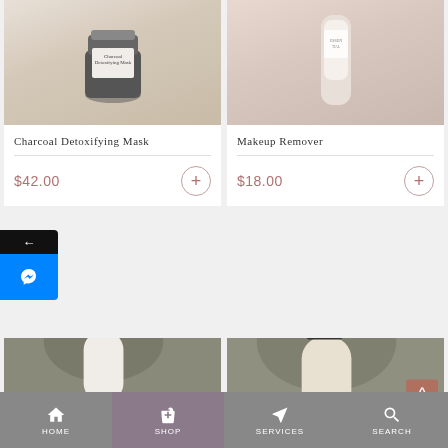[Figure (photo): Charcoal Detoxifying Mask product photo - dark jar on light background]
Charcoal Detoxifying Mask
$42.00
[Figure (photo): Makeup Remover product photo - white bottle held by hand]
Makeup Remover
$18.00
[Figure (photo): Pump bottle product photo - white pump dispenser]
[Figure (photo): Pump bottle product photo - dark pump dispenser]
HOME  SHOP  SERVICES  SEARCH